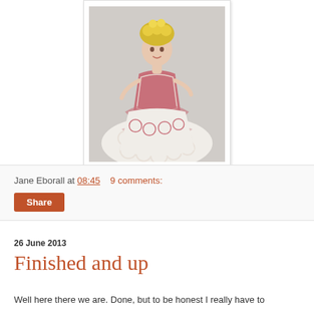[Figure (photo): A decorative doll figurine wearing a pink and white crocheted or tatted lace dress with circular lace patterns, yellow hair/flowers on top, photographed against a light background.]
Jane Eborall at 08:45    9 comments:
Share
26 June 2013
Finished and up
Well here there we are. Done, but to be honest I really have to...